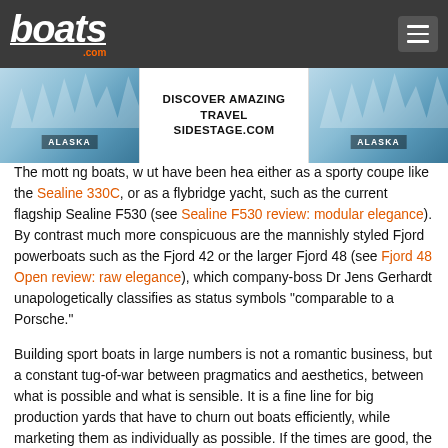boats.com
[Figure (screenshot): Advertisement banner: DISCOVER AMAZING TRAVEL SIDESTAGE.COM with Alaska glacier imagery on both sides]
The motto ... ng boats, w ... ut have been hea ... either as a sporty coupe like the Sealine 330C, or as a flybridge yacht, such as the current flagship Sealine F530 (see Sealine F530 review: modular elegance). By contrast much more conspicuous are the mannishly styled Fjord powerboats such as the Fjord 42 or the larger Fjord 48 (see Fjord 48 Open review: raw elegance), which company-boss Dr Jens Gerhardt unapologetically classifies as status symbols "comparable to a Porsche."
Building sport boats in large numbers is not a romantic business, but a constant tug-of-war between pragmatics and aesthetics, between what is possible and what is sensible. It is a fine line for big production yards that have to churn out boats efficiently, while marketing them as individually as possible. If the times are good, the equation gets solved. However, if the economy coughs, boat builders catch a virus, from which they often recover slowly. Just as it was the case in the financial and banking crisis mentioned earlier, which also